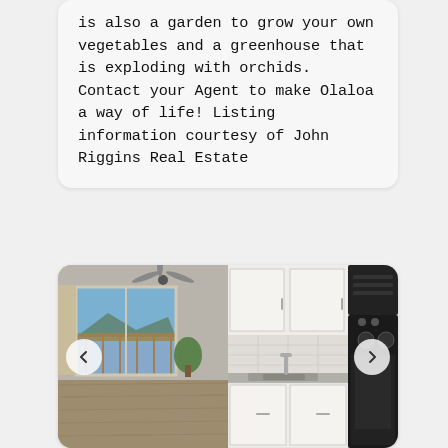is also a garden to grow your own vegetables and a greenhouse that is exploding with orchids. Contact your Agent to make Olaloa a way of life! Listing information courtesy of John Riggins Real Estate
[Figure (photo): Two interior photos side by side: left shows a living room with sliding glass door and view of mountains/ocean with ceiling fan; right shows a white kitchen with cabinets, sink, and black stove/microwave. Navigation arrows on left and right sides.]